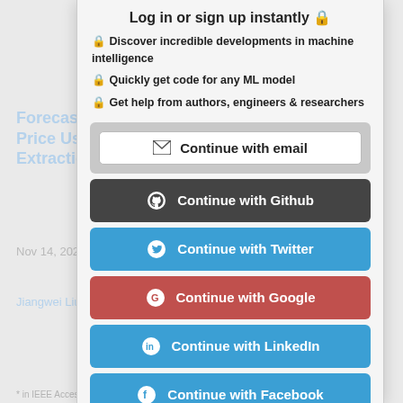Forecasting Crude Oil Price Using Event Extraction
Nov 14, 2021
Jiangwei Liu, Xiaohong Huang
Log in or sign up instantly 🔒
🔒 Discover incredible developments in machine intelligence
🔒 Quickly get code for any ML model
🔒 Get help from authors, engineers & researchers
Continue with email
Continue with Github
Continue with Twitter
Continue with Google
Continue with LinkedIn
Continue with Facebook
* in IEEE Access vol. 8, pp. 148063-149076, 2021